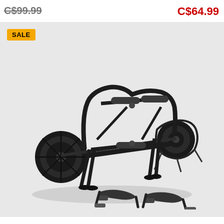C$99.99 (strikethrough original price)
C$64.99 (sale price in red)
SALE (badge)
[Figure (photo): A black kayak/canoe cart/trolley with two large wheels (one flat/solid wheel on the left, one on the right with straps), a tubular steel frame with foam grip handles, and two black nylon buckle straps laid out in front]